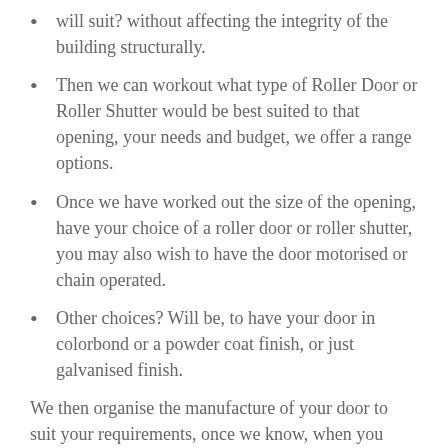will suit? without affecting the integrity of the building structurally.
Then we can workout what type of Roller Door or Roller Shutter would be best suited to that opening, your needs and budget, we offer a range options.
Once we have worked out the size of the opening, have your choice of a roller door or roller shutter, you may also wish to have the door motorised or chain operated.
Other choices? Will be, to have your door in colorbond or a powder coat finish, or just galvanised finish.
We then organise the manufacture of your door to suit your requirements, once we know, when you door will be ready, we then book in a suitable day & time in advance.
We would attend site early, cut out your new opening, install all new steel bracing to form the opening, carry out the installation of your new door and motor, supply an electrician to commission your new motor and check for smooth operation.